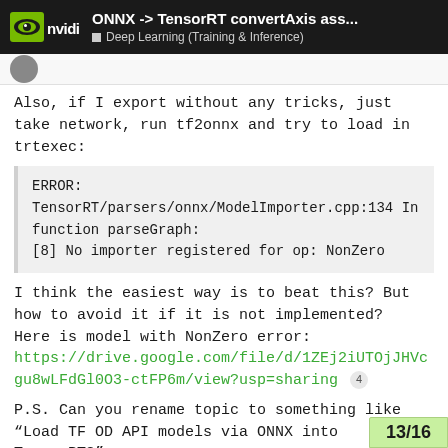ONNX -> TensorRT convertAxis ass... | Deep Learning (Training & Inference)
Also, if I export without any tricks, just take network, run tf2onnx and try to load in trtexec:
ERROR:
TensorRT/parsers/onnx/ModelImporter.cpp:134 In function parseGraph:
[8] No importer registered for op: NonZero
I think the easiest way is to beat this? But how to avoid it if it is not implemented?
Here is model with NonZero error:
https://drive.google.com/file/d/1ZEj2iUTOjJHVcgu8wLFdGl0O3-ctFP6m/view?usp=sharing 4
P.S. Can you rename topic to something like “Load TF OD API models via ONNX into TensorRT?"
13/16